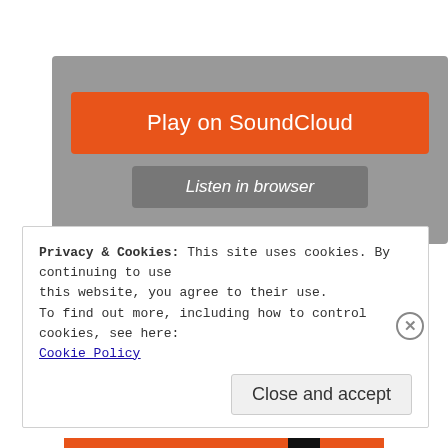[Figure (screenshot): SoundCloud widget embed with gray background, orange 'Play on SoundCloud' button, gray 'Listen in browser' button, and 'Privacy policy' label at bottom left.]
Image result for 12th man seahawks
Privacy & Cookies: This site uses cookies. By continuing to use this website, you agree to their use.
To find out more, including how to to control cookies, see here:
Cookie Policy
Close and accept